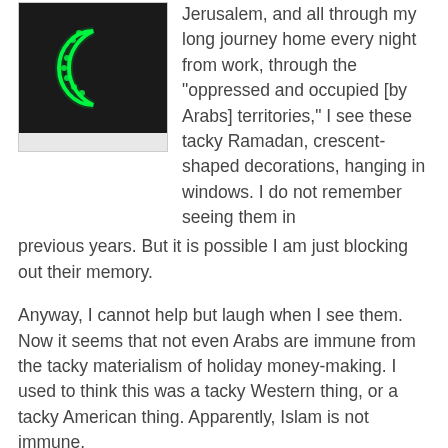[Figure (photo): Thumbnail photo of a green crescent-shaped neon decoration against a dark background, displayed in a small framed box]
Jerusalem, and all through my long journey home every night from work, through the "oppressed and occupied [by Arabs] territories," I see these tacky Ramadan, crescent-shaped decorations, hanging in windows. I do not remember seeing them in previous years. But it is possible I am just blocking out their memory.
Anyway, I cannot help but laugh when I see them. Now it seems that not even Arabs are immune from the tacky materialism of holiday money-making. I used to think this was a tacky Western thing, or a tacky American thing. Apparently, Islam is not immune.
[Figure (photo): Night photograph of a market stall or shop front decorated with colorful neon light decorations in various shapes including crescents, stars, and other figures in green, red, yellow, and pink against a dark background, with people visible inside]